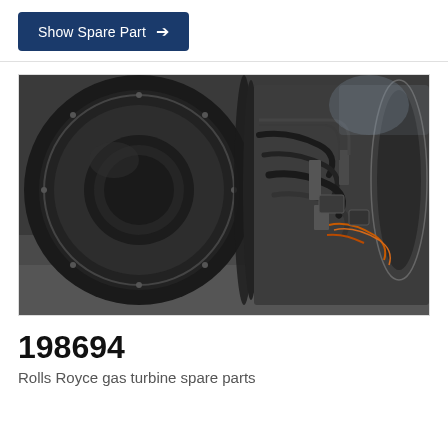Show Spare Part →
[Figure (photo): Close-up photograph of a Rolls Royce gas turbine engine showing large circular fan cowling on the left and complex mechanical components including pipes, wires, and turbine stages on the right, set against a workshop background.]
198694
Rolls Royce gas turbine spare parts